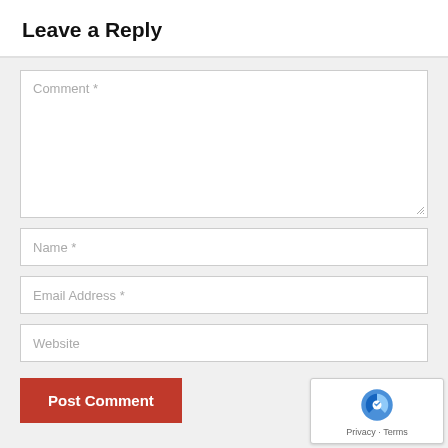Leave a Reply
Comment *
Name *
Email Address *
Website
Post Comment
Privacy · Terms